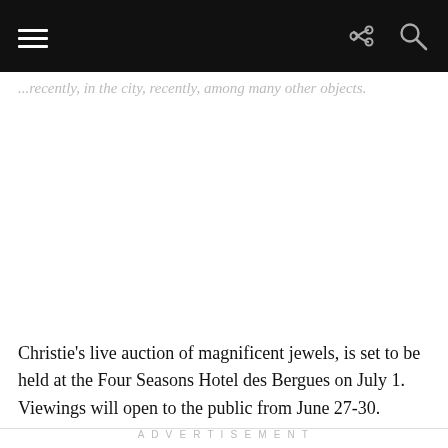[navigation bar with hamburger menu, share icon, search icon]
...recently, in the city, recently, among many other objects.
[Figure (photo): Large white/empty image area in the center of the page (photo content not visible)]
Christie’s live auction of magnificent jewels, is set to be held at the Four Seasons Hotel des Bergues on July 1. Viewings will open to the public from June 27-30.
ADVERTISEMENT